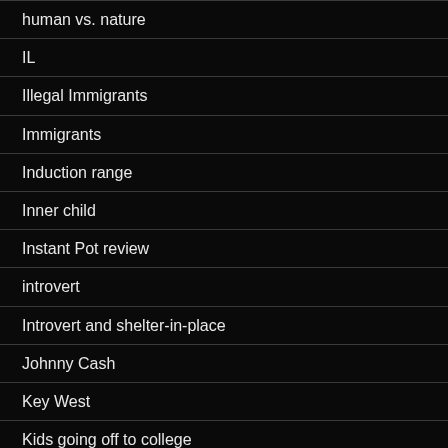human vs. nature
IL
Illegal Immigrants
Immigrants
Induction range
Inner child
Instant Pot review
introvert
Introvert and shelter-in-place
Johnny Cash
Key West
Kids going off to college